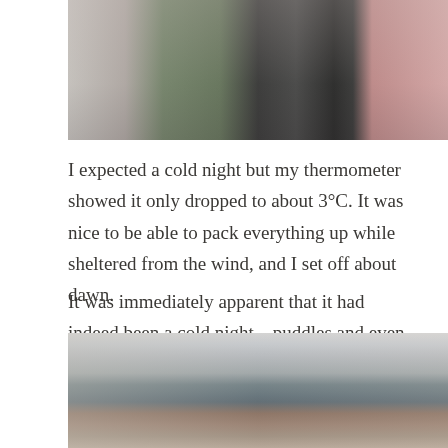[Figure (photo): Photo of gear and clothes hanging in a building doorway or alcove, with a whitewashed wall on the left and pink/red wall on the right]
I expected a cold night but my thermometer showed it only dropped to about 3°C. It was nice to be able to pack everything up while sheltered from the wind, and I set off about dawn.
It was immediately apparent that it had indeed been a cold night – puddles and even small streams were iced over. I hadn't accounted for the extra warmth being in a building provides!
[Figure (photo): Landscape photo of a wide open valley or plain at dawn with mountains in the background under a light cloudy sky]